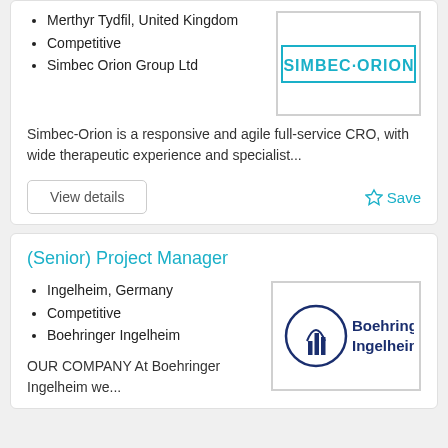Merthyr Tydfil, United Kingdom
Competitive
Simbec Orion Group Ltd
[Figure (logo): Simbec-Orion company logo with teal text and border]
Simbec-Orion is a responsive and agile full-service CRO, with wide therapeutic experience and specialist...
View details
Save
(Senior) Project Manager
Ingelheim, Germany
Competitive
Boehringer Ingelheim
[Figure (logo): Boehringer Ingelheim company logo with dark blue icon and text]
OUR COMPANY At Boehringer Ingelheim we...